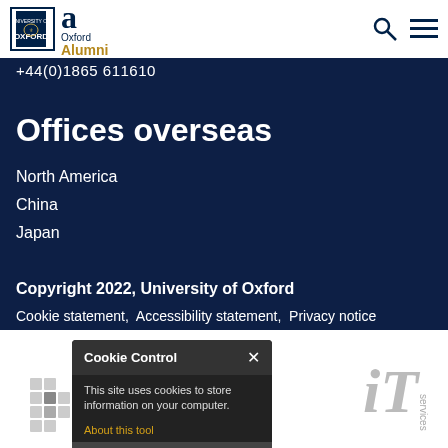University of Oxford Alumni - navigation bar with search and menu icons
+44(0)1865 611610
Offices overseas
North America
China
Japan
Copyright 2022, University of Oxford
Cookie statement,  Accessibility statement,  Privacy notice
[Figure (screenshot): Cookie Control popup overlay with dark background, title 'Cookie Control', close X button, body text 'This site uses cookies to store information on your computer.', orange 'About this tool' link, and 'read more' button]
[Figure (logo): Oxford Mosaic logo with grey dots grid pattern and 'powered by OXFORD MOSAIC' text]
[Figure (logo): Oxford IT Services logo with grey italic 'iT' and 'services' text]